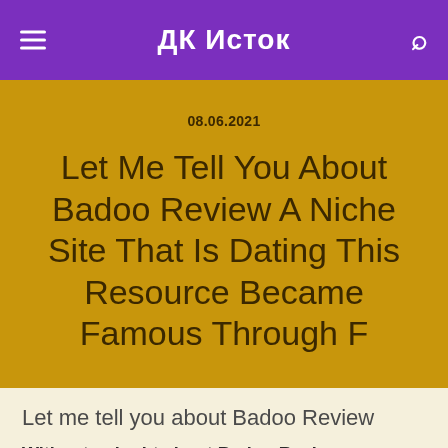ДК Исток
08.06.2021
Let Me Tell You About Badoo Review A Niche Site That Is Dating This Resource Became Famous Through F
Let me tell you about Badoo Review
Without a doubt about Badoo Review
Badoo Review Details